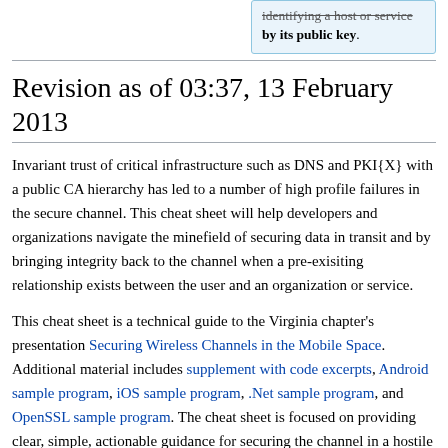identifying a host or service by its public key.
Revision as of 03:37, 13 February 2013
Invariant trust of critical infrastructure such as DNS and PKI{X} with a public CA hierarchy has led to a number of high profile failures in the secure channel. This cheat sheet will help developers and organizations navigate the minefield of securing data in transit and by bringing integrity back to the channel when a pre-exisiting relationship exists between the user and an organization or service.
This cheat sheet is a technical guide to the Virginia chapter's presentation Securing Wireless Channels in the Mobile Space. Additional material includes supplement with code excerpts, Android sample program, iOS sample program, .Net sample program, and OpenSSL sample program. The cheat sheet is focused on providing clear, simple, actionable guidance for securing the channel in a hostile environment where actors could be malicious and the conference of trust a liability.